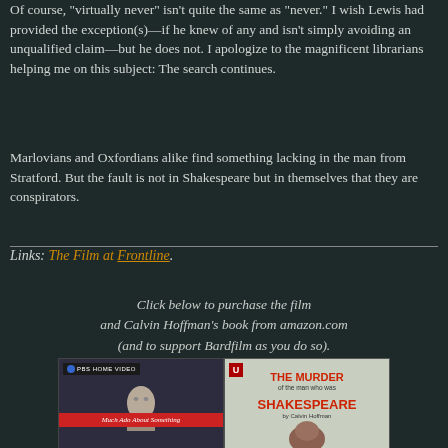Of course, "virtually never" isn't quite the same as "never." I wish Lewis had provided the exception(s)—if he knew of any and isn't simply avoiding an unqualified claim—but he does not. I apologize to the magnificent librarians helping me on this subject: The search continues.
Marlovians and Oxfordians alike find something lacking in the man from Stratford. But the fault is not in Shakespeare but in themselves that they are conspirators.
Links: The Film at Frontline.
Click below to purchase the film
and Calvin Hoffman's book from amazon.com
(and to support Bardfilm as you do so).
[Figure (photo): Two book/video covers side by side: left is a PBS Home Video cover for 'Much Ado About Something' showing a Shakespeare bust with a red banner; right is a book cover for 'The Murder of the man who was Shakespeare by Calvin Hoffman' with red title text on a light background.]